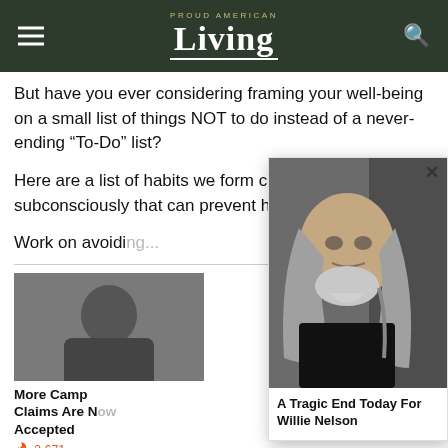Proud American Living
But have you ever considering framing your well-being on a small list of things NOT to do instead of a never-ending “To-Do” list?
Here are a list of habits we form consciously or subconsciously that can prevent healthy lifestyle...
Work on avoiding...
[Figure (photo): Thumbnail image of a person in dark clothing]
More Camp Claims Are Now Accepted
2,671
[Figure (photo): Popup showing an elderly man with long gray hair and beard looking at camera. Caption: A Tragic End Today For Willie Nelson]
A Tragic End Today For Willie Nelson